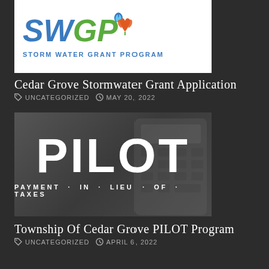[Figure (logo): SWGP Storm Water Grant Program logo on white background with blue and green letters, water drop, and poppy flowers]
Cedar Grove Stormwater Grant Application
UNCATEGORIZED   MAY 20, 2022
[Figure (illustration): Dark gray background image with large white bold text: PILOT, PAYMENT IN LIEU OF TAXES]
Township Of Cedar Grove PILOT Program
UNCATEGORIZED   APRIL 6, 2022